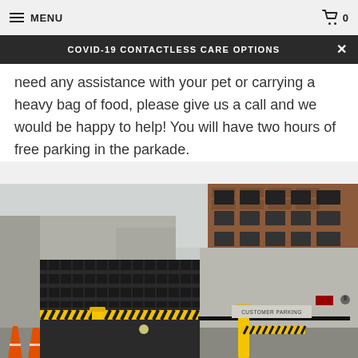MENU | 0 (cart)
COVID-19 CONTACTLESS CARE OPTIONS
need any assistance with your pet or carrying a heavy bag of food, please give us a call and we would be happy to help! You will have two hours of free parking in the parkade.
[Figure (photo): Entrance to a parkade/parking garage with black metal gate, yellow bollards, orange traffic cones, a brick building in the background, and a 'CUSTOMER PARKING' sign on the concrete wall to the right.]